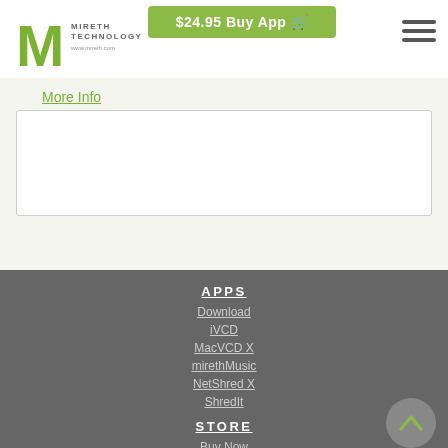[Figure (logo): Mireth Technology logo with green M and text]
$24.95 Buy App
More Info
APPS
Download
iVCD
MacVCD X
mirethMusic
NetShred X
ShredIt
STORE
Buy Now
FAQs